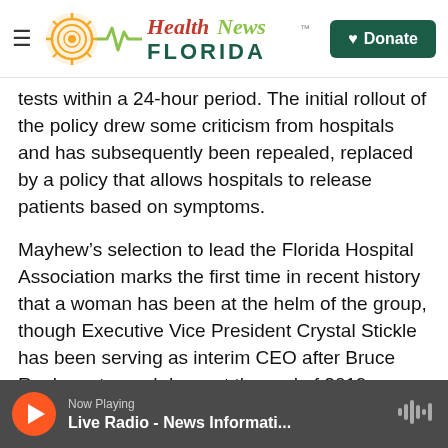Health News Florida — Donate
tests within a 24-hour period. The initial rollout of the policy drew some criticism from hospitals and has subsequently been repealed, replaced by a policy that allows hospitals to release patients based on symptoms.
Mayhew's selection to lead the Florida Hospital Association marks the first time in recent history that a woman has been at the helm of the group, though Executive Vice President Crystal Stickle has been serving as interim CEO after Bruce Rueben stepped down at the end of 2019. Stickle remains on staff as executive vice president, according to
Now Playing — Live Radio - News Informati...